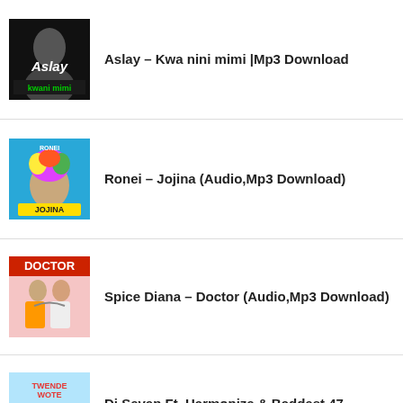Aslay – Kwa nini mimi |Mp3 Download
Ronei – Jojina (Audio,Mp3 Download)
Spice Diana – Doctor (Audio,Mp3 Download)
Dj Seven Ft. Harmonize & Baddest 47 – Twende Wote (Audio,Mp3 Download)
AUDIO | Eltee Skhillz – ODG | Download